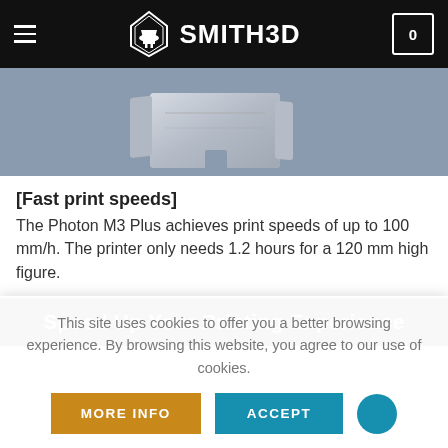SMITH3D
[Figure (photo): Product photo showing a 3D-printed metal-like bracket or card holder piece on a gray-blue surface]
[Fast print speeds]
The Photon M3 Plus achieves print speeds of up to 100 mm/h. The printer only needs 1.2 hours for a 120 mm high figure.
[Figure (photo): Dark blue banner section with white bold text reading 'Speed Up Your Printing Experience']
This site uses cookies to offer you a better browsing experience. By browsing this website, you agree to our use of cookies.